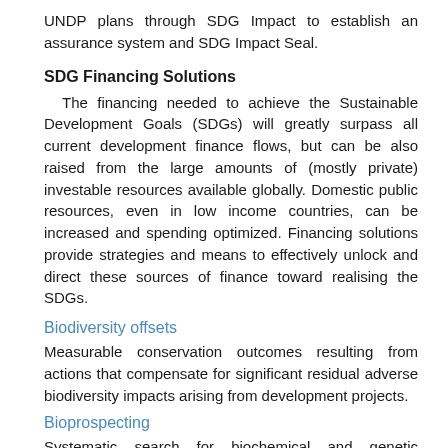UNDP plans through SDG Impact to establish an assurance system and SDG Impact Seal.
SDG Financing Solutions
The financing needed to achieve the Sustainable Development Goals (SDGs) will greatly surpass all current development finance flows, but can be also raised from the large amounts of (mostly private) investable resources available globally. Domestic public resources, even in low income countries, can be increased and spending optimized. Financing solutions provide strategies and means to effectively unlock and direct these sources of finance toward realising the SDGs.
Biodiversity offsets
Measurable conservation outcomes resulting from actions that compensate for significant residual adverse biodiversity impacts arising from development projects.
Bioprospecting
Systematic search for biochemical and genetic information